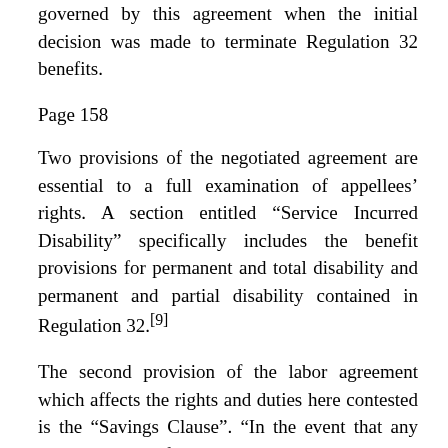governed by this agreement when the initial decision was made to terminate Regulation 32 benefits.
Page 158
Two provisions of the negotiated agreement are essential to a full examination of appellees' rights. A section entitled “Service Incurred Disability” specifically includes the benefit provisions for permanent and total disability and permanent and partial disability contained in Regulation 32.[9]
The second provision of the labor agreement which affects the rights and duties here contested is the “Savings Clause”. “In the event that any provisions are found to be inconsistent with, altered or conditioned by provisions of the Civil Service Regulations, the Home Rule Charter or other